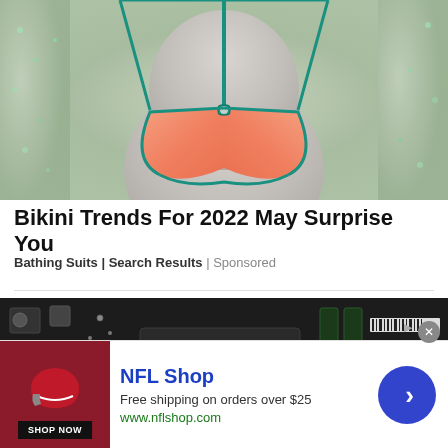[Figure (photo): Close-up photo of a coral/orange and teal bikini top displayed on a mannequin, with a shimmery background]
Bikini Trends For 2022 May Surprise You
Bathing Suits | Search Results | Sponsored
[Figure (photo): Close-up photo of a computer motherboard/CPU with AMD Ryzen processor and OPTIMEM III label]
[Figure (photo): NFL Shop advertisement banner with logo, shop now button, free shipping offer, and navigation arrow]